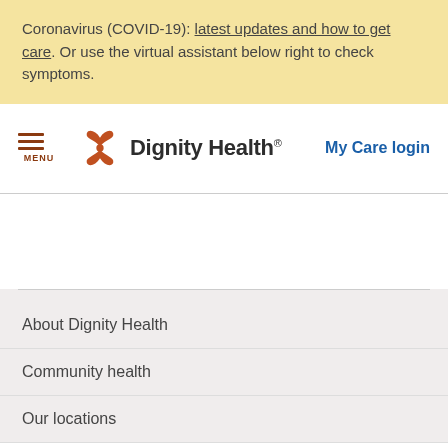Coronavirus (COVID-19): latest updates and how to get care. Or use the virtual assistant below right to check symptoms.
[Figure (logo): Dignity Health logo with orange butterfly/flower icon and bold text 'Dignity Health.' alongside 'My Care login' link]
About Dignity Health
Community health
Our locations